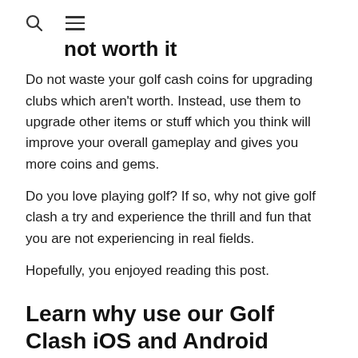🔍 ☰
not worth it
Do not waste your golf cash coins for upgrading clubs which aren't worth. Instead, use them to upgrade other items or stuff which you think will improve your overall gameplay and gives you more coins and gems.
Do you love playing golf? If so, why not give golf clash a try and experience the thrill and fun that you are not experiencing in real fields.
Hopefully, you enjoyed reading this post.
Learn why use our Golf Clash iOS and Android cheat